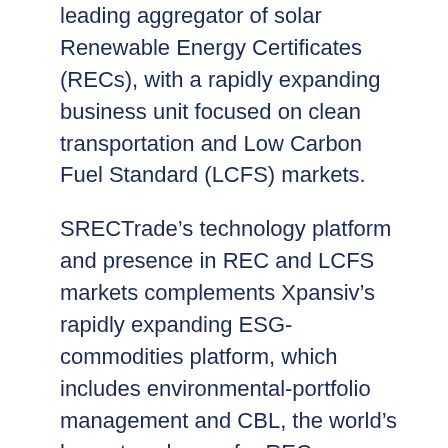leading aggregator of solar Renewable Energy Certificates (RECs), with a rapidly expanding business unit focused on clean transportation and Low Carbon Fuel Standard (LCFS) markets.
SRECTrade’s technology platform and presence in REC and LCFS markets complements Xpansiv’s rapidly expanding ESG-commodities platform, which includes environmental-portfolio management and CBL, the world’s largest exchange for RECs, carbon offsets, water, and digital commodity products.
SRECTrade CEO Steven Eisenberg will lead the Xpansiv XPortfolio business, which